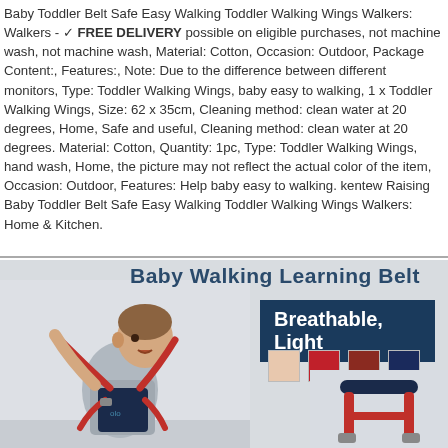Baby Toddler Belt Safe Easy Walking Toddler Walking Wings Walkers: Walkers - ✓ FREE DELIVERY possible on eligible purchases, not machine wash, not machine wash, Material: Cotton, Occasion: Outdoor, Package Content:, Features:, Note: Due to the difference between different monitors, Type: Toddler Walking Wings, baby easy to walking, 1 x Toddler Walking Wings, Size: 62 x 35cm, Cleaning method: clean water at 20 degrees, Home, Safe and useful, Cleaning method: clean water at 20 degrees. Material: Cotton, Quantity: 1pc, Type: Toddler Walking Wings, hand wash, Home, the picture may not reflect the actual color of the item, Occasion: Outdoor, Features: Help baby easy to walking. kentew Raising Baby Toddler Belt Safe Easy Walking Toddler Walking Wings Walkers: Home & Kitchen.
[Figure (photo): Product promotional image showing a toddler wearing a red and navy blue baby walking harness/belt on the left, with text 'Baby Walking Learning Belt' and 'Breathable, Light' badge on the right, plus color swatches (beige, red, brown, navy) and a product-only shot of the harness below right.]